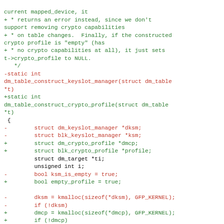Code diff showing renaming of dm_table_construct_keyslot_manager to dm_table_construct_crypto_profile with related struct changes